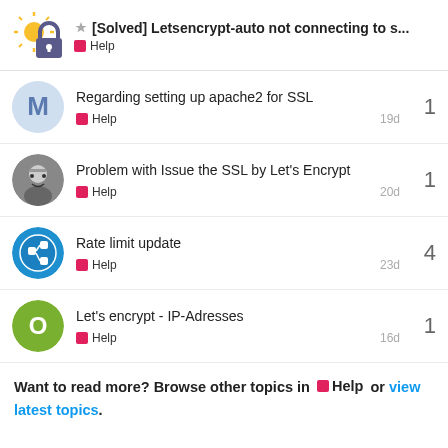[Solved] Letsencrypt-auto not connecting to s... Help
Regarding setting up apache2 for SSL | Help | 19d | 1
Problem with Issue the SSL by Let's Encrypt | Help | 20d | 1
Rate limit update | Help | 23d | 4
Let's encrypt - IP-Adresses | Help | 16d | 1
Want to read more? Browse other topics in Help or view latest topics.